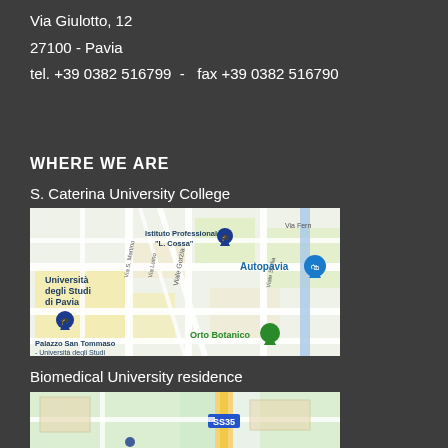Via Giulotto, 12
27100 - Pavia
tel. +39 0382 516799  -  fax +39 0382 516790
WHERE WE ARE
S. Caterina University College
[Figure (map): Google Maps view showing S. Caterina University College area in Pavia, Italy. Landmarks visible: Istituto Professionale "L. Cossa", Università degli Studi di Pavia, Autopavia, Palazzo San Tommaso - Università degli Studi, Orto Botanico. Streets: Via Gorzia, Via Luino, Via S. Martino, Viale Sicilia, Via Fern...]
Biomedical University residence
[Figure (map): Google Maps view showing Biomedical University residence area in Pavia, Italy. Highway SS35 visible.]